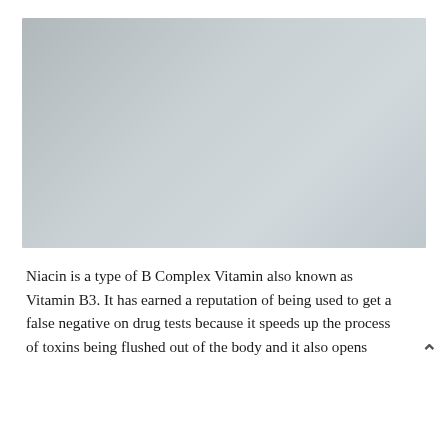[Figure (illustration): Word cloud image featuring the word 'niacin' prominently in large black text, surrounded by related terms such as 'healthy', 'food', 'vitamin', 'ingredient', 'medicine', 'pharmaceutical', 'nutrition', 'diet', 'medical', 'supplement', 'complex', 'nicotinic', 'formula', 'potassium', 'nutritional', 'organic', 'immune', 'liver', 'vitamins', 'scientific', and many others in teal, dark blue, and green colors. A hand appears in the lower right holding the word cloud.]
Niacin is a type of B Complex Vitamin also known as Vitamin B3. It has earned a reputation of being used to get a false negative on drug tests because it speeds up the process of toxins being flushed out of the body and it also opens capillaries to absorb things...